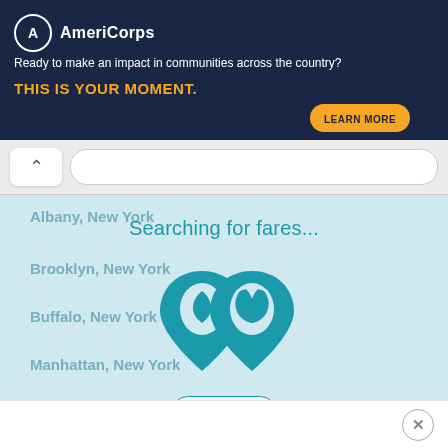[Figure (screenshot): AmeriCorps advertisement banner with dark navy background. Logo with white circle, brand name 'AmeriCorps', tagline 'Ready to make an impact in communities across the country?', headline 'THIS IS YOUR MOMENT.' in orange, and a 'LEARN MORE' button. Right side shows a photo of people working at computers.]
[Figure (screenshot): Browser navigation bar with back chevron button and address bar on light gray background.]
Albany, New York
Brooklyn, New York
Buffalo, New York
Manhattan, New York
New York, United States of Ame...
Queens, New York
Rochester, New York
[Figure (logo): Travel search app logo consisting of two overlapping stylized location pin icons in teal/dark cyan color.]
Searching for fares...
Cancel